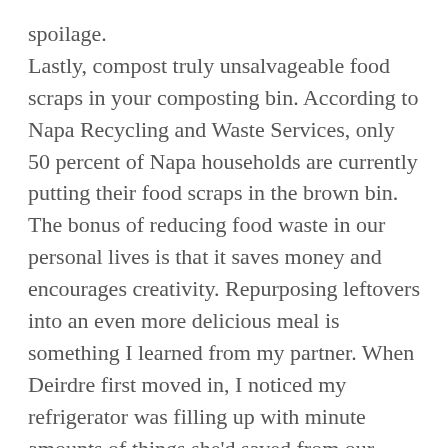spoilage. Lastly, compost truly unsalvageable food scraps in your composting bin. According to Napa Recycling and Waste Services, only 50 percent of Napa households are currently putting their food scraps in the brown bin. The bonus of reducing food waste in our personal lives is that it saves money and encourages creativity. Repurposing leftovers into an even more delicious meal is something I learned from my partner. When Deirdre first moved in, I noticed my refrigerator was filling up with minute amounts of things she'd saved from our meals: a tablespoon of sautéed veggies, a thumbnail of ginger, a dab of yogurt. She would put these bits to work, spicing up a